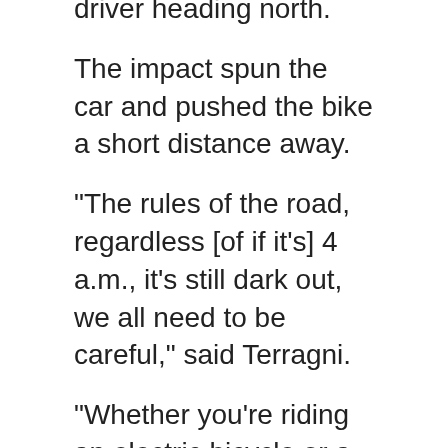driver heading north.
The impact spun the car and pushed the bike a short distance away.
"The rules of the road, regardless [of if it's] 4 a.m., it's still dark out, we all need to be careful," said Terragni.
"Whether you're riding an electric bicycle or a motorcycle or whatever it is, you still do need to follow the rules of the road and if the light is red you absolutely have to stop," she said.
A traffic analyst at the scene asked that any motorists who may have been along Ryan Road and witnessed the electric bike or who may have dashcam footage of the area to contact the Courtenay RCMP detachment.